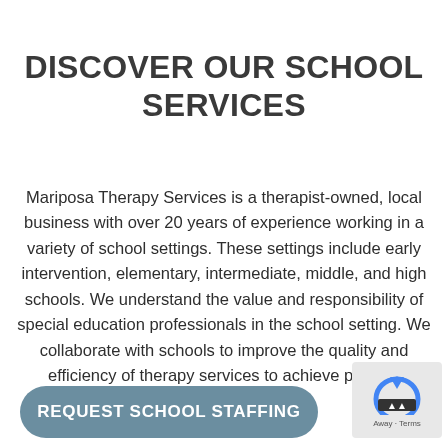DISCOVER OUR SCHOOL SERVICES
Mariposa Therapy Services is a therapist-owned, local business with over 20 years of experience working in a variety of school settings. These settings include early intervention, elementary, intermediate, middle, and high schools. We understand the value and responsibility of special education professionals in the school setting. We collaborate with schools to improve the quality and efficiency of therapy services to achieve positive outcomes for all students.
REQUEST SCHOOL STAFFING